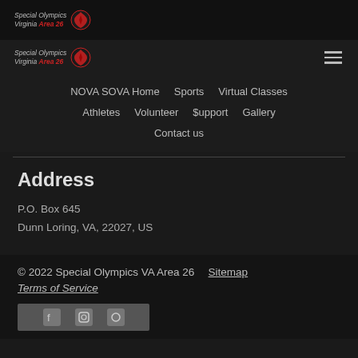[Figure (logo): Special Olympics Virginia Area 26 logo with red emblem, top header bar]
Special Olympics Virginia Area 26 navigation bar with logo and hamburger menu
NOVA SOVA Home   Sports   Virtual Classes   Athletes   Volunteer   $upport   Gallery   Contact us
Address
P.O. Box 645
Dunn Loring, VA, 22027, US
© 2022 Special Olympics VA Area 26   Sitemap   Terms of Service